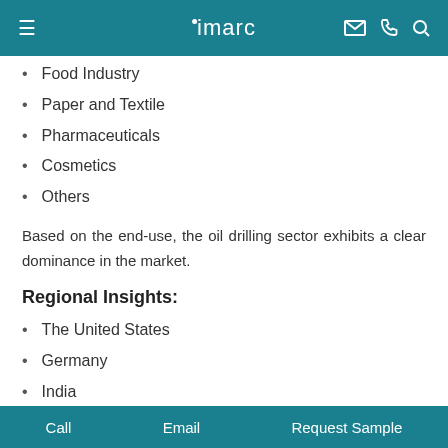imarc
Food Industry
Paper and Textile
Pharmaceuticals
Cosmetics
Others
Based on the end-use, the oil drilling sector exhibits a clear dominance in the market.
Regional Insights:
The United States
Germany
India
Others
Call   Email   Request Sample